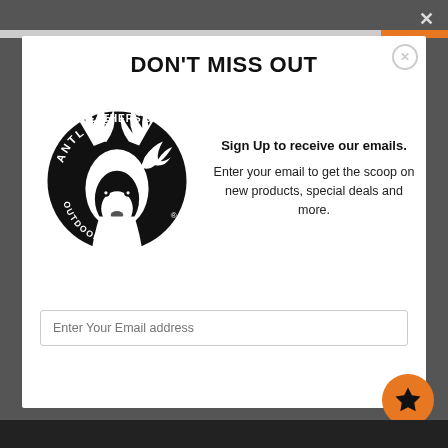DON'T MISS OUT
[Figure (logo): Feathers & Antlers Outdoors circular logo with deer and bird silhouette]
Sign Up to receive our emails.

Enter your email to get the scoop on new products, special deals and more.
Enter Your Email address
Submit